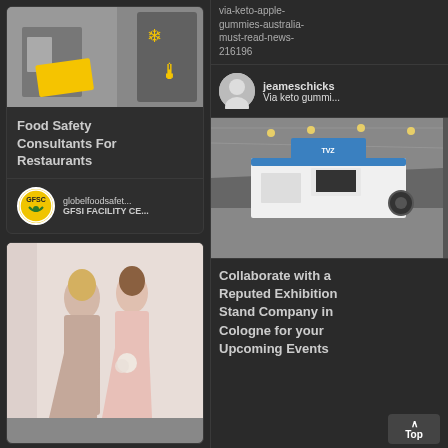[Figure (photo): Person in workspace with thermometer snowflake icon, yellow accents, food safety themed image]
Food Safety Consultants For Restaurants
[Figure (logo): GFSI circular logo in yellow]
globelfoodsafet...
GFSI FACILITY CE...
[Figure (photo): Two women in formal bridesmaid dresses, one dusty rose and one blush pink]
via-keto-apple-gummies-australia-must-read-news-216196
[Figure (photo): User avatar circle]
jeameschicks
Via keto gummi...
[Figure (photo): Exhibition hall with large branded booth, blue and white stand with TVZ branding]
Collaborate with a Reputed Exhibition Stand Company in Cologne for your Upcoming Events